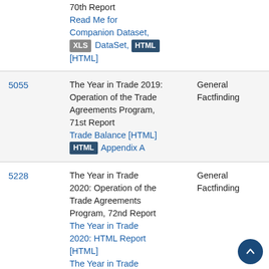| ID | Title / Links | Category |
| --- | --- | --- |
|  | 70th Report  Read Me for Companion Dataset, XLS DataSet, HTML [HTML] |  |
| 5055 | The Year in Trade 2019: Operation of the Trade Agreements Program, 71st Report  Trade Balance [HTML]  HTML Appendix A | General Factfinding |
| 5228 | The Year in Trade 2020: Operation of the Trade Agreements Program, 72nd Report  The Year in Trade 2020: HTML Report [HTML]  The Year in Trade | General Factfinding |